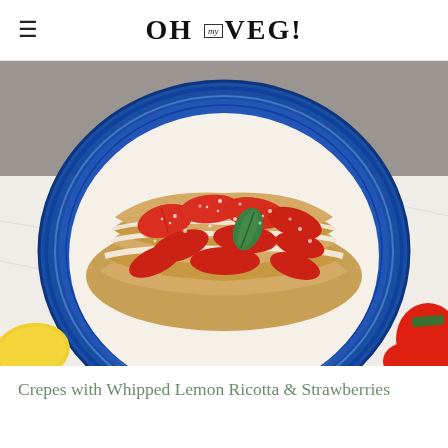OH my VEG!
[Figure (photo): Overhead photo of crepes stacked on a blue decorative plate, filled with whipped lemon ricotta and fresh strawberries, garnished with a basil leaf and dusted with powdered sugar. A lemon and strawberries are visible in the background on a white cloth surface.]
Crepes with Whipped Lemon Ricotta & Strawberries